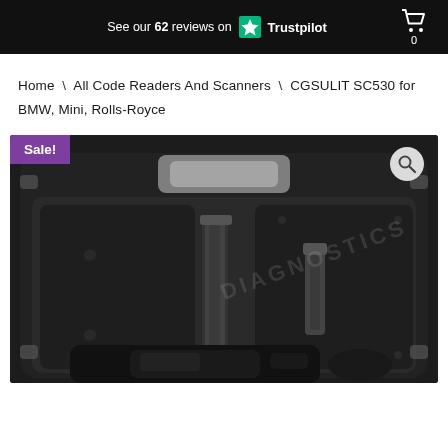See our 62 reviews on Trustpilot
Home \ All Code Readers And Scanners \ CGSULIT SC530 for BMW, Mini, Rolls-Royce
[Figure (photo): Open black hard-shell carry case showing foam-padded interior with straps and diagnostic scanner tool at bottom. A watermark reads 'DIAGNOSTICS'. A 'Sale!' badge in purple is at the top-left, and a search/magnify icon is at the top-right.]